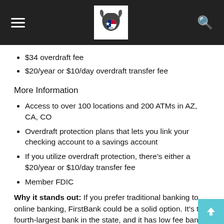Navigation header with hamburger menu, FirstBank logo, and search icon
$34 overdraft fee
$20/year or $10/day overdraft transfer fee
More Information
Access to over 100 locations and 200 ATMs in AZ, CA, CO
Overdraft protection plans that lets you link your checking account to a savings account
If you utilize overdraft protection, there's either a $20/year or $10/day transfer fee
Member FDIC
Why it stands out: If you prefer traditional banking to online banking, FirstBank could be a solid option. It's the fourth-largest bank in the state, and it has low fee bank accounts.